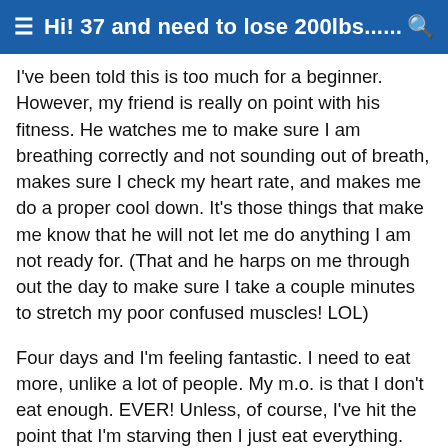≡ Hi! 37 and need to lose 200lbs…… 🔍
I've been told this is too much for a beginner. However, my friend is really on point with his fitness. He watches me to make sure I am breathing correctly and not sounding out of breath, makes sure I check my heart rate, and makes me do a proper cool down. It's those things that make me know that he will not let me do anything I am not ready for. (That and he harps on me through out the day to make sure I take a couple minutes to stretch my poor confused muscles! LOL)
Four days and I'm feeling fantastic. I need to eat more, unlike a lot of people. My m.o. is that I don't eat enough. EVER! Unless, of course, I've hit the point that I'm starving then I just eat everything. Again, my motivator harps on me about that to and when reminding me to stretch reminds me to eat something healthy!
I may be 365lbs right now, and I'm realizing I'm not so worried about the number as I am what I am able to do. The